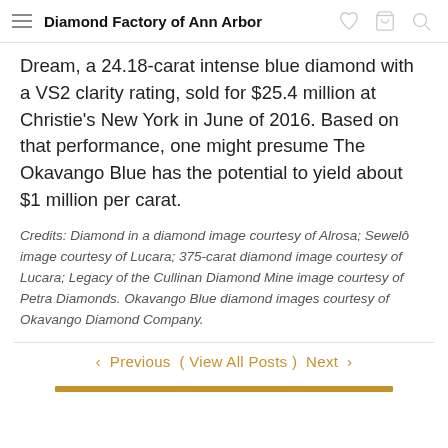Diamond Factory of Ann Arbor
Dream, a 24.18-carat intense blue diamond with a VS2 clarity rating, sold for $25.4 million at Christie's New York in June of 2016. Based on that performance, one might presume The Okavango Blue has the potential to yield about $1 million per carat.
Credits: Diamond in a diamond image courtesy of Alrosa; Sewelô image courtesy of Lucara; 375-carat diamond image courtesy of Lucara; Legacy of the Cullinan Diamond Mine image courtesy of Petra Diamonds. Okavango Blue diamond images courtesy of Okavango Diamond Company.
◁ Previous ( View All Posts ) Next ▷